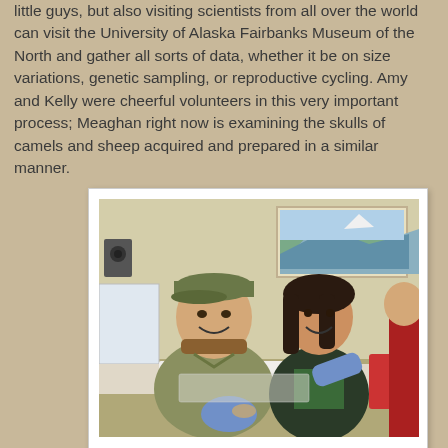little guys, but also visiting scientists from all over the world can visit the University of Alaska Fairbanks Museum of the North and gather all sorts of data, whether it be on size variations, genetic sampling, or reproductive cycling. Amy and Kelly were cheerful volunteers in this very important process; Meaghan right now is examining the skulls of camels and sheep acquired and prepared in a similar manner.
[Figure (photo): Two smiling young people sitting at a table in a room. The man on the left wears a cap and olive fleece, holding something with a blue latex glove. The woman in the center smiles too, also wearing a blue glove and holding an object. A landscape painting hangs on the wall behind them. A third person in red is partially visible on the right.]
It's not creepy if it's science!